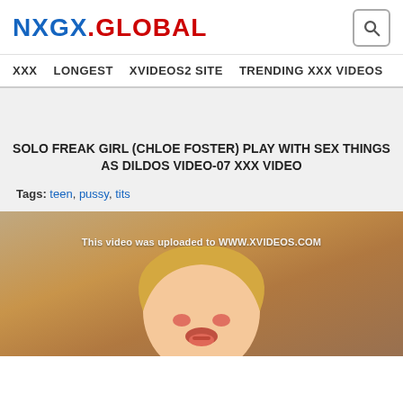NXGX.GLOBAL
XXX  LONGEST  XVIDEOS2 SITE  TRENDING XXX VIDEOS
SOLO FREAK GIRL (CHLOE FOSTER) PLAY WITH SEX THINGS AS DILDOS VIDEO-07 XXX VIDEO
Tags: teen, pussy, tits
[Figure (screenshot): Video thumbnail showing a woman with blonde hair, with watermark text 'This video was uploaded to WWW.XVIDEOS.COM']